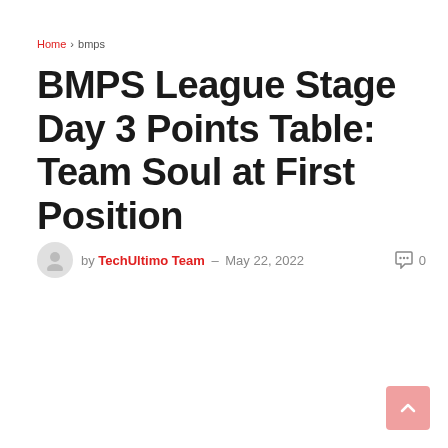Home > bmps
BMPS League Stage Day 3 Points Table: Team Soul at First Position
by TechUltimo Team – May 22, 2022   0